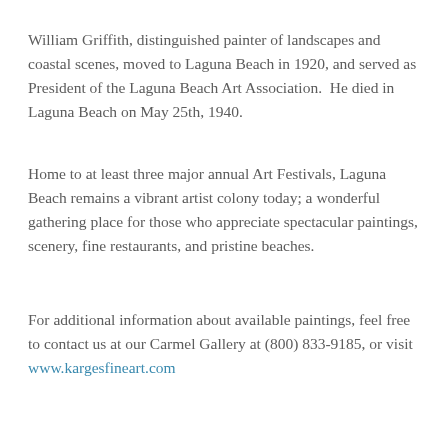William Griffith, distinguished painter of landscapes and coastal scenes, moved to Laguna Beach in 1920, and served as President of the Laguna Beach Art Association.  He died in Laguna Beach on May 25th, 1940.
Home to at least three major annual Art Festivals, Laguna Beach remains a vibrant artist colony today; a wonderful gathering place for those who appreciate spectacular paintings, scenery, fine restaurants, and pristine beaches.
For additional information about available paintings, feel free to contact us at our Carmel Gallery at (800) 833-9185, or visit www.kargesfineart.com